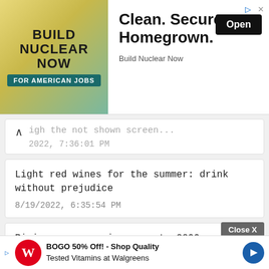[Figure (screenshot): Advertisement banner: BUILD NUCLEAR NOW FOR AMERICAN JOBS. Clean. Secure. Homegrown. Build Nuclear Now. Open button.]
igh the not shown screen...
2022, 7:36:01 PM
Light red wines for the summer: drink without prejudice
8/19/2022, 6:35:54 PM
Rising energy prices: up to 2200 euros more for gas according to the BCG study
8/19/2022, 6:24:06 PM
Close X
Planr... w recor...
[Figure (screenshot): Advertisement: BOGO 50% Off! - Shop Quality Tested Vitamins at Walgreens, with Walgreens logo and navigation icon.]